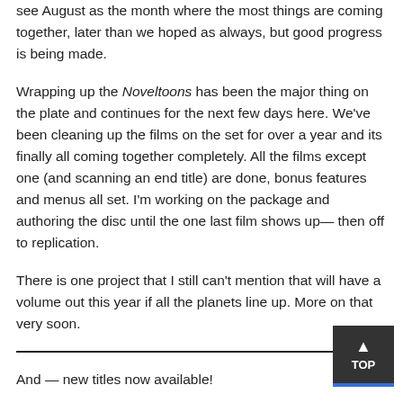see August as the month where the most things are coming together, later than we hoped as always, but good progress is being made.
Wrapping up the Noveltoons has been the major thing on the plate and continues for the next few days here. We've been cleaning up the films on the set for over a year and its finally all coming together completely. All the films except one (and scanning an end title) are done, bonus features and menus all set. I'm working on the package and authoring the disc until the one last film shows up— then off to replication.
There is one project that I still can't mention that will have a volume out this year if all the planets line up. More on that very soon.
And — new titles now available!
I was going to write a little more about the new titles that just got finished, but I'll keep it simple for the moment.
Grotesqueries, a set of animated and otherwise spooky